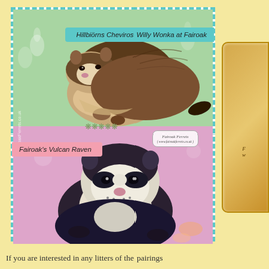[Figure (photo): Two ferret photos in a teal dashed-border collage frame. Top photo shows 'Hillbiörns Cheviros Willy Wonka at Fairoak' — a ferret with light/dark fur on a green bunny-print background. Bottom photo shows 'Fairoak's Vulcan Raven' — a black and white ferret facing forward on a pink background. A 'Fairoak Ferrets' badge appears between the two images.]
If you are interested in any litters of the pairings